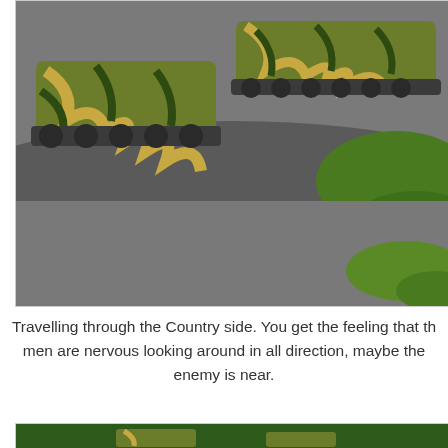[Figure (photo): Close-up photo of miniature military armored vehicles/half-tracks painted in green and tan camouflage pattern, on a diorama base with a road, gravel, and green grass/foliage terrain.]
Travelling through the Country side. You get the feeling that the men are nervous looking around in all direction, maybe the enemy is near.
[Figure (photo): Photo of miniature military half-track vehicles painted in green and tan camouflage, loaded with small soldier figures, set against a background of tall green model pine trees and a road diorama.]